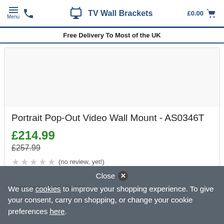Menu | TV Wall Brackets | £0.00
Free Delivery To Most of the UK
Portrait Pop-Out Video Wall Mount - AS0346T
£214.99
£257.99
(no review, yet!)
Customers Also Viewed
Close
We use cookies to improve your shopping experience. To give your consent, carry on shopping, or change your cookie preferences here.